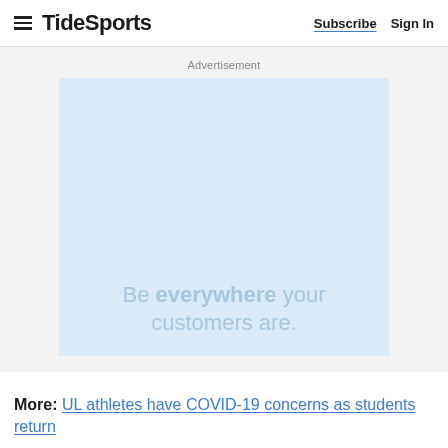TideSports | Subscribe | Sign In
[Figure (other): Advertisement placeholder box with light blue background and text 'Be everywhere your customers are']
More: UL athletes have COVID-19 concerns as students return